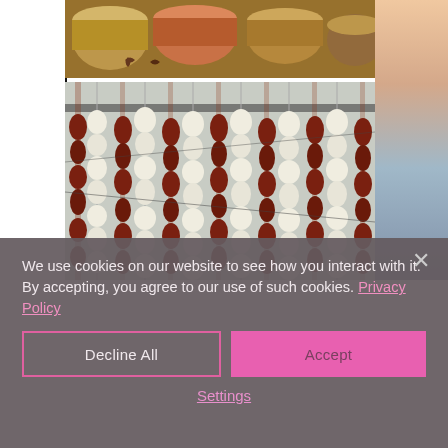[Figure (photo): Top photo showing metal tins/buckets filled with spices and powders at a market stall]
[Figure (photo): Photo showing hanging strings of garlic and dried chili peppers arranged vertically]
We use cookies on our website to see how you interact with it. By accepting, you agree to our use of such cookies. Privacy Policy
Decline All
Accept
Settings